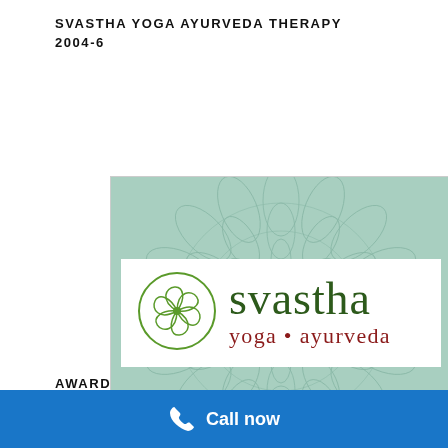SVASTHA YOGA AYURVEDA THERAPY 2004-6
[Figure (logo): Svastha Yoga Ayurveda logo on a mint green mandala background. White box with circular green pinwheel/swirl icon on left, 'svastha' in dark green serif font large, 'yoga • ayurveda' in dark red serif font below.]
AWARD
Call now